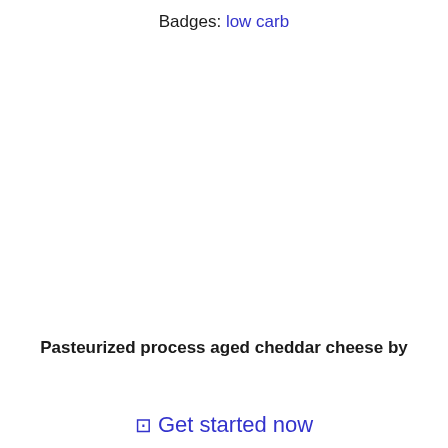Badges: low carb
Pasteurized process aged cheddar cheese by
⊡ Get started now